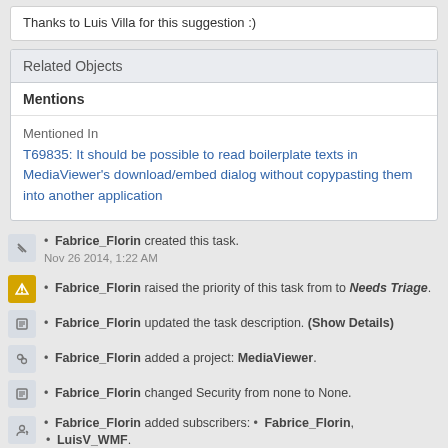Thanks to Luis Villa for this suggestion :)
Related Objects
Mentions
Mentioned In
T69835: It should be possible to read boilerplate texts in MediaViewer's download/embed dialog without copypasting them into another application
Fabrice_Florin created this task. Nov 26 2014, 1:22 AM
Fabrice_Florin raised the priority of this task from to Needs Triage.
Fabrice_Florin updated the task description. (Show Details)
Fabrice_Florin added a project: MediaViewer.
Fabrice_Florin changed Security from none to None.
Fabrice_Florin added subscribers: • Fabrice_Florin, • LuisV_WMF.